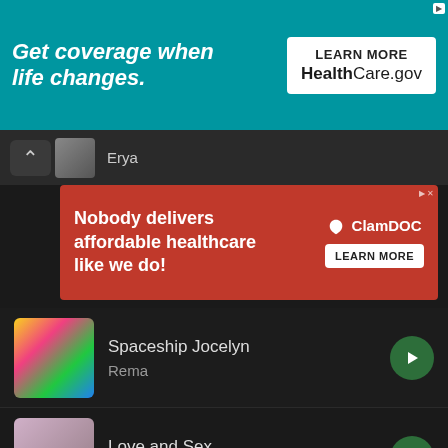[Figure (screenshot): Healthcare.gov advertisement banner: teal background with white italic bold text 'Get coverage when life changes.' and white box with 'LEARN MORE' and 'HealthCare.gov']
[Figure (screenshot): Navigation bar with back chevron, artist thumbnail and name 'Erya']
[Figure (screenshot): ClamDOC red advertisement: 'Nobody delivers affordable healthcare like we do!' with LEARN MORE button]
Spaceship Jocelyn
Rema
Love and Sex
Hydraulix Fonye
Beautiful Day
Mr. P
[Figure (screenshot): Now playing bar showing 'Lonely' at 00:01 / 04:08 with pause button]